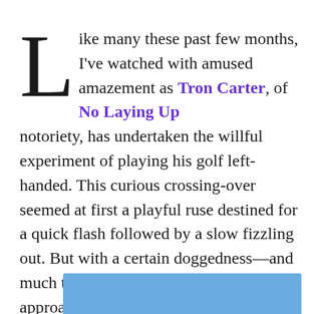Like many these past few months, I've watched with amused amazement as Tron Carter, of No Laying Up notoriety, has undertaken the willful experiment of playing his golf left-handed. This curious crossing-over seemed at first a playful ruse destined for a quick flash followed by a slow fizzling out. But with a certain doggedness—and much to his credit—Carter continues to approach his ball from the right.
[Figure (other): Light blue rectangular bar at the bottom of the page]